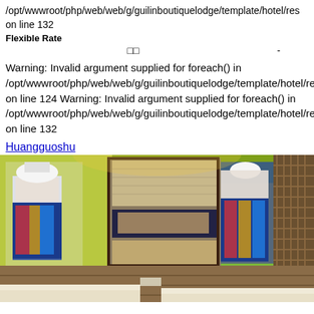/opt/wwwroot/php/web/web/g/guilinboutiquelodge/template/hotel/res on line 132
Flexible Rate
□□  -
Warning: Invalid argument supplied for foreach() in /opt/wwwroot/php/web/web/g/guilinboutiquelodge/template/hotel/res on line 124 Warning: Invalid argument supplied for foreach() in /opt/wwwroot/php/web/web/g/guilinboutiquelodge/template/hotel/res on line 132
Huangguoshu
[Figure (photo): Hotel room interior with decorative wall mural depicting traditional Chinese minority figures in colorful costumes standing in a yellow flower field, framed panels with woven texture accents, dark wood lattice wall panels, and beds with light-colored bedding in the foreground.]